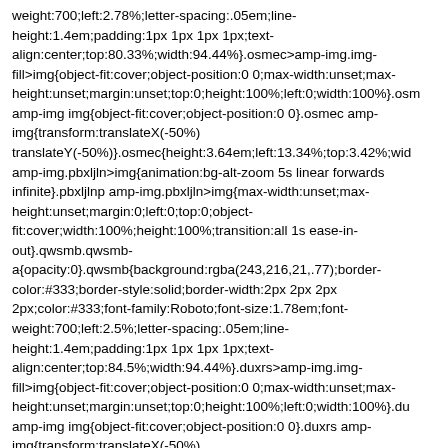weight:700;left:2.78%;letter-spacing:.05em;line-height:1.4em;padding:1px 1px 1px 1px;text-align:center;top:80.33%;width:94.44%}.osmec>amp-img.img-fill>img{object-fit:cover;object-position:0 0;max-width:unset;max-height:unset;margin:unset;top:0;height:100%;left:0;width:100%}.osm amp-img img{object-fit:cover;object-position:0 0}.osmec amp-img{transform:translateX(-50%) translateY(-50%)}.osmec{height:3.64em;left:13.34%;top:3.42%;wid amp-img.pbxljln>img{animation:bg-alt-zoom 5s linear forwards infinite}.pbxljlnp amp-img.pbxljln>img{max-width:unset;max-height:unset;margin:0;left:0;top:0;object-fit:cover;width:100%;height:100%;transition:all 1s ease-in-out}.qwsmb.qwsmb-a{opacity:0}.qwsmb{background:rgba(243,216,21,.77);border-color:#333;border-style:solid;border-width:2px 2px 2px 2px;color:#333;font-family:Roboto;font-size:1.78em;font-weight:700;left:2.5%;letter-spacing:.05em;line-height:1.4em;padding:1px 1px 1px 1px;text-align:center;top:84.5%;width:94.44%}.duxrs>amp-img.img-fill>img{object-fit:cover;object-position:0 0;max-width:unset;max-height:unset;margin:unset;top:0;height:100%;left:0;width:100%}.du amp-img img{object-fit:cover;object-position:0 0}.duxrs amp-img{transform:translateX(-50%)